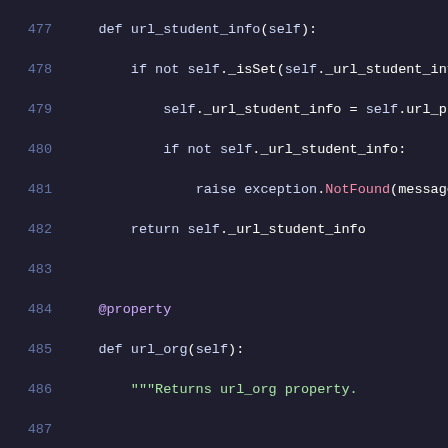Code listing lines 477-498 showing Python method definitions url_student_info and url_org with docstrings